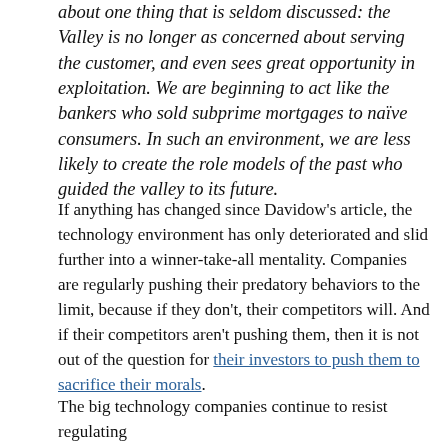about one thing that is seldom discussed: the Valley is no longer as concerned about serving the customer, and even sees great opportunity in exploitation. We are beginning to act like the bankers who sold subprime mortgages to naïve consumers. In such an environment, we are less likely to create the role models of the past who guided the valley to its future.
If anything has changed since Davidow's article, the technology environment has only deteriorated and slid further into a winner-take-all mentality. Companies are regularly pushing their predatory behaviors to the limit, because if they don't, their competitors will. And if their competitors aren't pushing them, then it is not out of the question for their investors to push them to sacrifice their morals.
The big technology companies continue to resist regulating